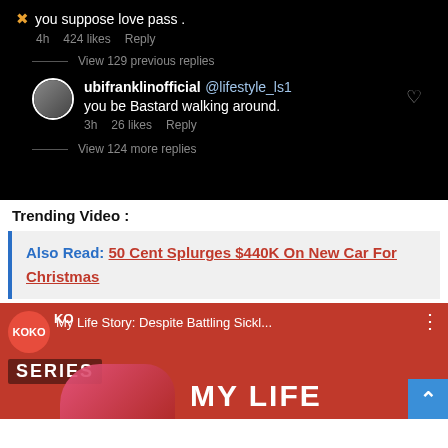[Figure (screenshot): Instagram comment section screenshot on dark background. Shows a comment with emoji x 'you suppose love pass .' with 4h, 424 likes, Reply. Then 'View 129 previous replies'. Then ubifranklinofficial replying to @lifestyle_ls1 'you be Bastard walking around.' with 3h, 26 likes, Reply. Then 'View 124 more replies'.]
Trending Video :
Also Read:  50 Cent Splurges $440K On New Car For Christmas
[Figure (screenshot): Video thumbnail for KOKO 100 Series video titled 'My Life Story: Despite Battling Sickl...' with red background and 'MY LIFE' text in white.]